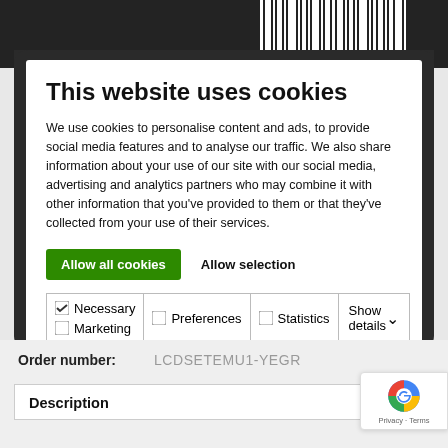[Figure (screenshot): Top dark bar with barcode-like vertical stripes at top of page representing a website screenshot]
This website uses cookies
We use cookies to personalise content and ads, to provide social media features and to analyse our traffic. We also share information about your use of our site with our social media, advertising and analytics partners who may combine it with other information that you've provided to them or that they've collected from your use of their services.
Allow all cookies   Allow selection
| ☑ Necessary | ☐ Preferences | ☐ Statistics | Show details ∨ |
| ☐ Marketing |  |  |  |
Order number:   LCDSETEMU1-YEGR
Description
[Figure (logo): reCAPTCHA badge with Privacy and Terms links]